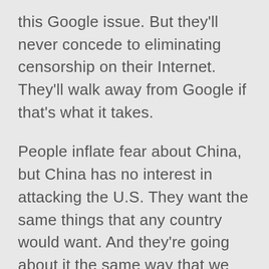this Google issue. But they'll never concede to eliminating censorship on their Internet. They'll walk away from Google if that's what it takes.
People inflate fear about China, but China has no interest in attacking the U.S. They want the same things that any country would want. And they're going about it the same way that we would go about it. We're doing espionage. We're looking after our interests. We're exerting our will as a nation. It's silly to try to take the moral high ground here. It doesn't serve any